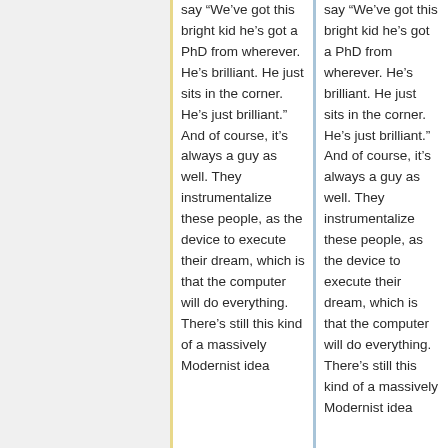say “We’ve got this bright kid he’s got a PhD from wherever. He’s brilliant. He just sits in the corner. He’s just brilliant.” And of course, it’s always a guy as well. They instrumentalize these people, as the device to execute their dream, which is that the computer will do everything. There’s still this kind of a massively Modernist idea
say “We’ve got this bright kid he’s got a PhD from wherever. He’s brilliant. He just sits in the corner. He’s just brilliant.” And of course, it’s always a guy as well. They instrumentalize these people, as the device to execute their dream, which is that the computer will do everything. There’s still this kind of a massively Modernist idea